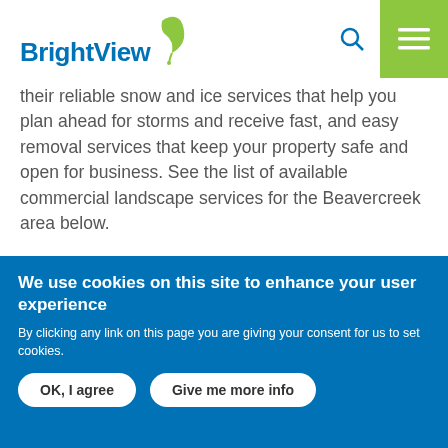BrightView [logo with leaf icon, search icon, and hamburger menu]
their reliable snow and ice services that help you plan ahead for storms and receive fast, and easy removal services that keep your property safe and open for business. See the list of available commercial landscape services for the Beavercreek area below.
[Figure (photo): Snowy winter landscape with bare tree branches against a white sky]
We use cookies on this site to enhance your user experience
By clicking any link on this page you are giving your consent for us to set cookies.
OK, I agree   Give me more info